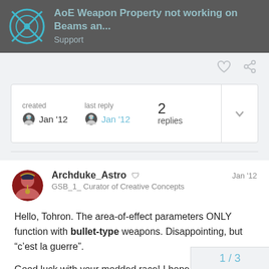AoE Weapon Property not working on Beams an... | Support
created Jan '12  last reply Jan '12  2 replies
Archduke_Astro  GSB_1_ Curator of Creative Concepts  Jan '12

Hello, Tohron. The area-of-effect parameters ONLY function with bullet-type weapons. Disappointing, but “c’est la guerre”.

Good luck with your modded race! I hope you might share it with us at the Gratuitous Modding subforum in the future. Look us up if you need a bit of help.
1 / 3